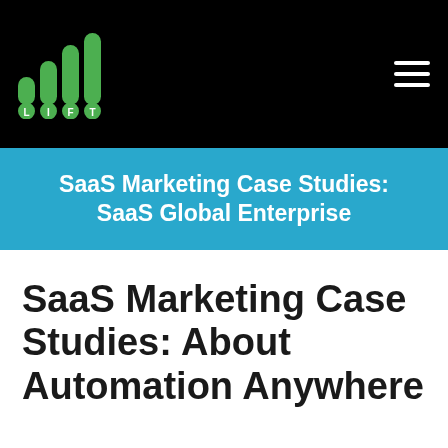[Figure (logo): LIFT logo with green pill-shaped bar chart icons and letter circles on black background]
SaaS Marketing Case Studies: SaaS Global Enterprise
SaaS Marketing Case Studies: About Automation Anywhere